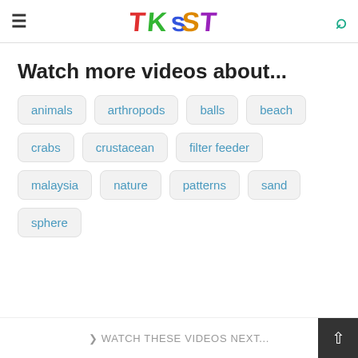TKSST
Watch more videos about...
animals
arthropods
balls
beach
crabs
crustacean
filter feeder
malaysia
nature
patterns
sand
sphere
❯ WATCH THESE VIDEOS NEXT...